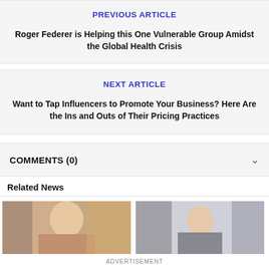PREVIOUS ARTICLE
Roger Federer is Helping this One Vulnerable Group Amidst the Global Health Crisis
NEXT ARTICLE
Want to Tap Influencers to Promote Your Business? Here Are the Ins and Outs of Their Pricing Practices
COMMENTS (0)
Related News
[Figure (photo): Left related news article thumbnail photo showing a person]
[Figure (photo): Right related news article thumbnail photo showing a person smiling]
ADVERTISEMENT